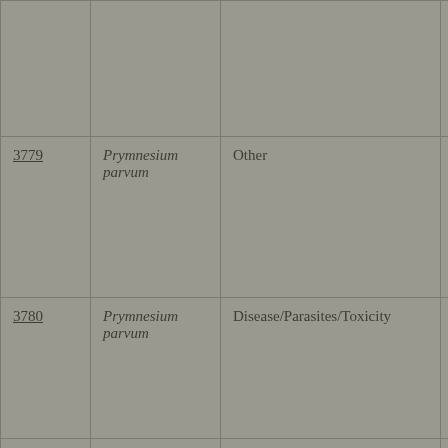| ID | Species | Category | Type |
| --- | --- | --- | --- |
|  |  |  |  |
| 3779 | Prymnesium parvum | Other | Experimen… |
| 3780 | Prymnesium parvum | Disease/Parasites/Toxicity | Experimen… |
| 3781 | Prymnesium parvum | Disease/Parasites/Toxicity | Experimen… |